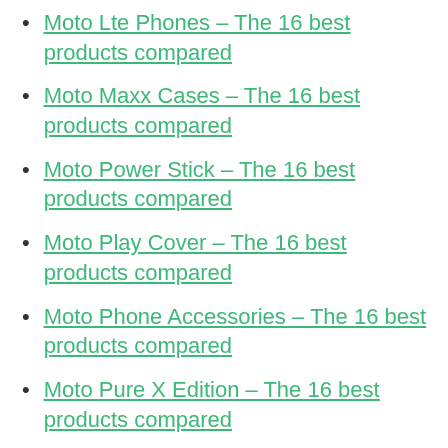Moto Lte Phones – The 16 best products compared
Moto Maxx Cases – The 16 best products compared
Moto Power Stick – The 16 best products compared
Moto Play Cover – The 16 best products compared
Moto Phone Accessories – The 16 best products compared
Moto Pure X Edition – The 16 best products compared
Moto Razr Cases – The 16 best products